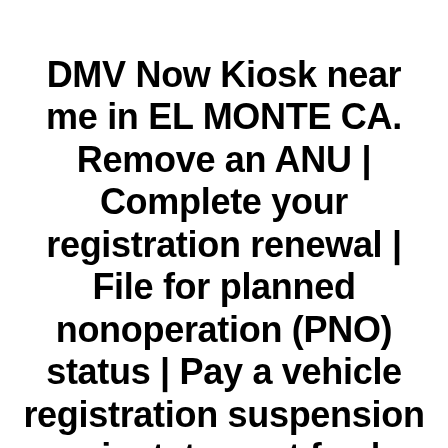DMV Now Kiosk near me in EL MONTE CA. Remove an ANU | Complete your registration renewal | File for planned nonoperation (PNO) status | Pay a vehicle registration suspension reinstatement fee | Receive your vehicle record | Submit an affidavit of non-use (ANU) | Submit proof of insurance when requested by the Vehicle Insurance Program | Receive